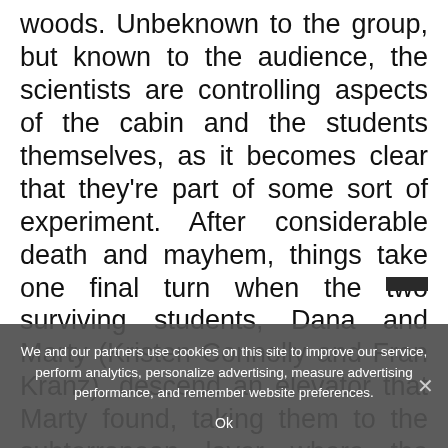woods. Unbeknown to the group, but known to the audience, the scientists are controlling aspects of the cabin and the students themselves, as it becomes clear that they're part of some sort of experiment. After considerable death and mayhem, things take one final turn when the two surviving students, Dana and Marty (Kristen Connolly and Fran Kranz), descend an elevator that Marty found, taking them to the subterranean layer where the scientists reside. There, they learn that they are
We and our partners use cookies on this site to improve our service, perform analytics, personalize advertising, measure advertising performance, and remember website preferences.
Ok